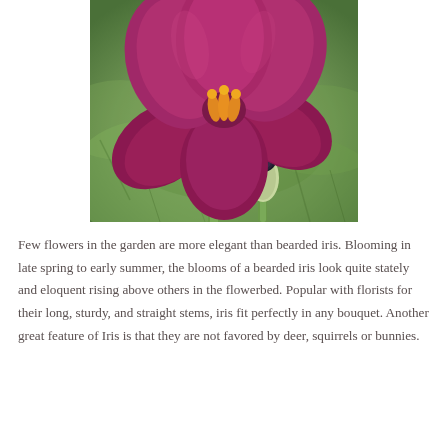[Figure (photo): Close-up photograph of a deep magenta/burgundy bearded iris flower in bloom, with yellow-orange stamens visible at the center, green stem, and an unopened bud with dark tip visible in the background. Background shows blurred green grass.]
Few flowers in the garden are more elegant than bearded iris. Blooming in late spring to early summer, the blooms of a bearded iris look quite stately and eloquent rising above others in the flowerbed. Popular with florists for their long, sturdy, and straight stems, iris fit perfectly in any bouquet. Another great feature of Iris is that they are not favored by deer, squirrels or bunnies.